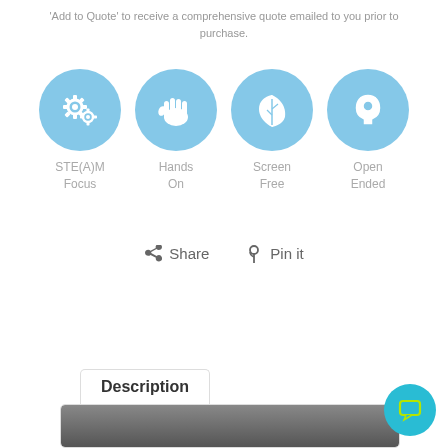'Add to Quote' to receive a comprehensive quote emailed to you prior to purchase.
[Figure (infographic): Four circular blue icons representing product features: STE(A)M Focus (gears icon), Hands On (hand icon), Screen Free (leaf icon), Open Ended (head with lightbulb icon)]
STE(A)M Focus | Hands On | Screen Free | Open Ended
[Figure (infographic): Share and Pin it social buttons with Facebook and Pinterest icons]
Share   Pin it
[Figure (screenshot): Description tab panel with partial image preview at bottom]
[Figure (infographic): Cyan circular chat/support button icon in bottom right corner]